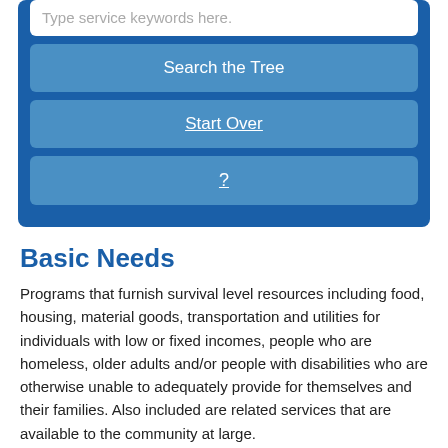[Figure (screenshot): UI panel with search input field showing placeholder text 'Type service keywords here.', followed by three buttons: 'Search the Tree', 'Start Over' (underlined), and '?' (underlined), all on a dark blue background.]
Basic Needs
Programs that furnish survival level resources including food, housing, material goods, transportation and utilities for individuals with low or fixed incomes, people who are homeless, older adults and/or people with disabilities who are otherwise unable to adequately provide for themselves and their families. Also included are related services that are available to the community at large.
Service code: B